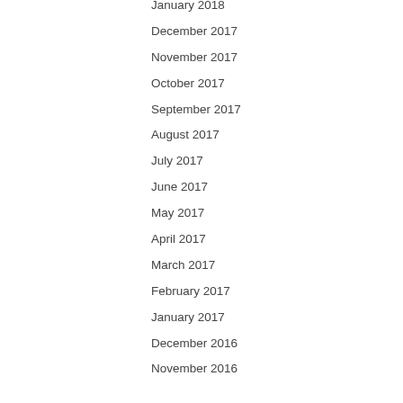January 2018
December 2017
November 2017
October 2017
September 2017
August 2017
July 2017
June 2017
May 2017
April 2017
March 2017
February 2017
January 2017
December 2016
November 2016